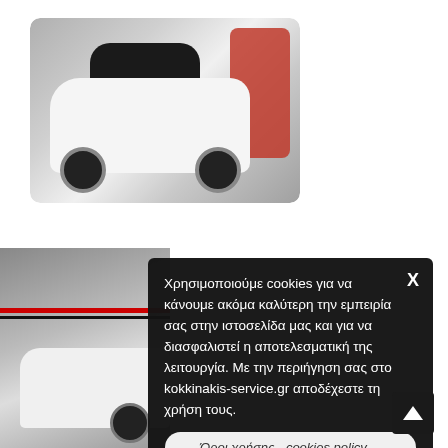[Figure (photo): Rear three-quarter view of a white VW Polo hatchback with trunk open at a car show, red car visible in background]
[Figure (photo): Partial side view of a white car with red and black stripe detail, partially obscured by cookie consent overlay]
Χρησιμοποιούμε cookies για να κάνουμε ακόμα καλύτερη την εμπειρία σας στην ιστοσελίδα μας και για να διασφαλιστεί η αποτελεσματική της λειτουργία. Με την περιήγηση σας στο kokkinakis-service.gr αποδέχεστε τη χρήση τους.
Όροι χρήσης - cookies policy ...